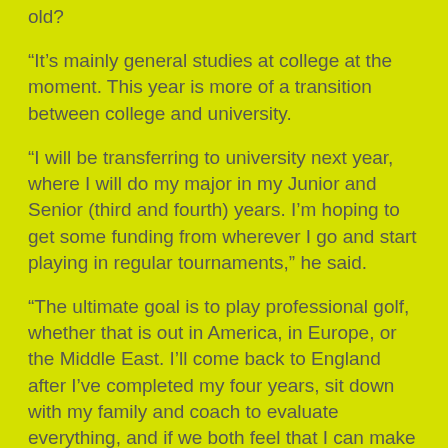old?
“It’s mainly general studies at college at the moment. This year is more of a transition between college and university.
“I will be transferring to university next year, where I will do my major in my Junior and Senior (third and fourth) years. I’m hoping to get some funding from wherever I go and start playing in regular tournaments,” he said.
“The ultimate goal is to play professional golf, whether that is out in America, in Europe, or the Middle East. I’ll come back to England after I’ve completed my four years, sit down with my family and coach to evaluate everything, and if we both feel that I can make a living out of it then I’ll give it my best shot!”